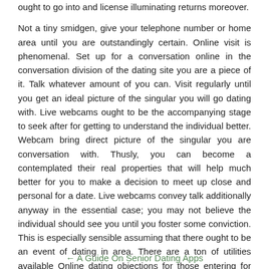ought to go into and license illuminating returns moreover.
Not a tiny smidgen, give your telephone number or home area until you are outstandingly certain. Online visit is phenomenal. Set up for a conversation online in the conversation division of the dating site you are a piece of it. Talk whatever amount of you can. Visit regularly until you get an ideal picture of the singular you will go dating with. Live webcams ought to be the accompanying stage to seek after for getting to understand the individual better. Webcam bring direct picture of the singular you are conversation with. Thusly, you can become a contemplated their real properties that will help much better for you to make a decision to meet up close and personal for a date. Live webcams convey talk additionally anyway in the essential case; you may not believe the individual should see you until you foster some conviction. This is especially sensible assuming that there ought to be an event of dating in area. There are a ton of utilities available Online dating objections for those entering for opinion, love, and open associations on the web.
← A Guide On Senior Dating Apps